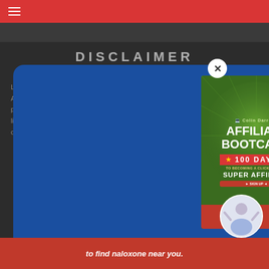Navigation bar with hamburger menu
DISCLAIMER
La... ices LLC A... signed to p... rtising and li... trademarks o...
[Figure (illustration): Blue modal popup with Affiliate Bootcamp book cover, First name and email input fields, and Download Free Affiliate Guide red button]
...hannel ID.
to find naloxone near you.